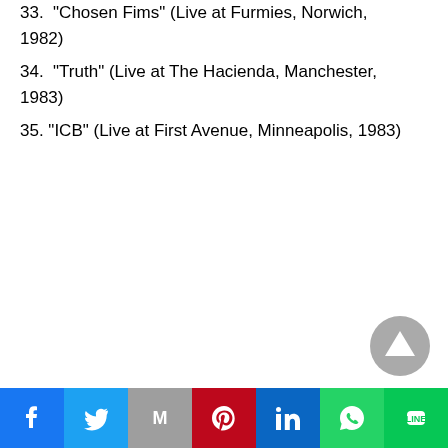33.  “Chosen Fims” (Live at Furmies, Norwich, 1982)
34.  “Truth” (Live at The Hacienda, Manchester, 1983)
35.  “ICB” (Live at First Avenue, Minneapolis, 1983)